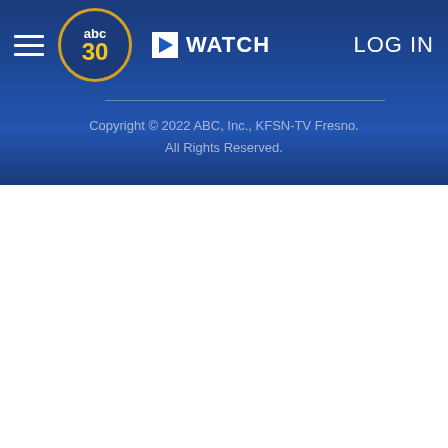☰  abc30  ▶ WATCH  LOG IN
[Figure (logo): ABC30 logo — circular badge with 'abc' text above '30' in yellow, dark blue background with gold border]
Copyright © 2022 ABC, Inc., KFSN-TV Fresno. All Rights Reserved.